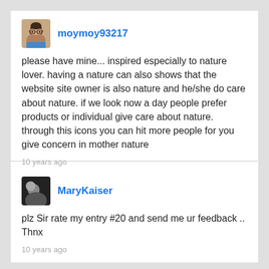[Figure (photo): Avatar photo of user moymoy93217 — a person with glasses]
moymoy93217
please have mine... inspired especially to nature lover. having a nature can also shows that the website site owner is also nature and he/she do care about nature. if we look now a day people prefer products or individual give care about nature. through this icons you can hit more people for you give concern in mother nature
10 years ago
[Figure (photo): Avatar photo of user MaryKaiser — dark/silhouette image]
MaryKaiser
plz Sir rate my entry #20 and send me ur feedback .. Thnx
10 years ago